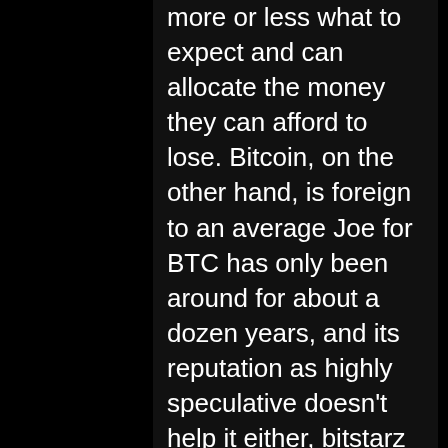more or less what to expect and can allocate the money they can afford to lose. Bitcoin, on the other hand, is foreign to an average Joe for BTC has only been around for about a dozen years, and its reputation as highly speculative doesn't help it either, bitstarz ingen innskuddsbonus 20 darmowe spiny. Here, we explain how to use cryptocurrency for gambling, bitstarz ingen insättningsbonus 20 free spins. Using cryptocurrency for gambling is the clear choice for people who are unsure whether a centralised organisation will determine odds in a fair way or have sufficient funds to pay out winnings. They charge an ungodly amount to take out your bitcoin from their site, bitstarz ingen insättningsbonus 20 darmowe spiny. Cafe Casino has a $75 withdrawal fee. Stake and Sportsbet both have a clear advantage compared to other sports betting bitcoin sites because they offer a depth of lines, competitive odds, and a great variety of